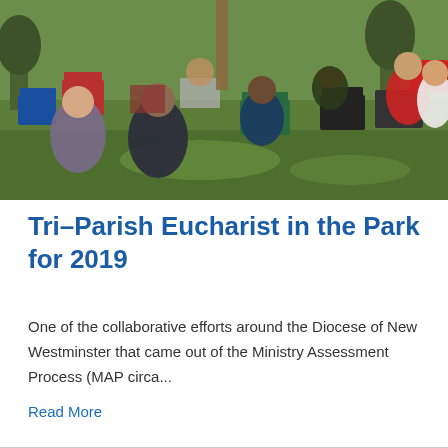[Figure (photo): Outdoor church service in a park. Many people seated in folding chairs on green grass, viewed from behind. Attendees wearing casual summer clothing in various colors including red, blue, green. Trees visible in background.]
Tri-Parish Eucharist in the Park for 2019
One of the collaborative efforts around the Diocese of New Westminster that came out of the Ministry Assessment Process (MAP circa...
Read More